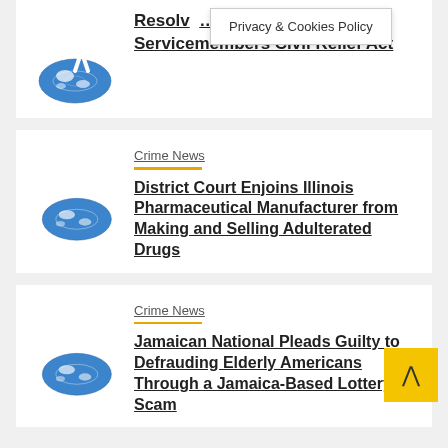[Figure (illustration): Globe with figure on top (partial, top of page first card)]
Resolv... of the Servicemembers Civil Relief Act
Privacy & Cookies Policy
[Figure (illustration): 3D figure sitting on globe with laptop]
Crime News
District Court Enjoins Illinois Pharmaceutical Manufacturer from Making and Selling Adulterated Drugs
[Figure (illustration): 3D figure sitting on globe with laptop]
Crime News
Jamaican National Pleads Guilty to Defrauding Elderly Americans Through a Jamaica-Based Lottery Scam